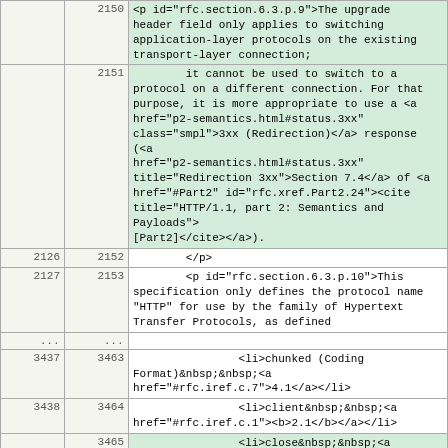|  |  | content |
| --- | --- | --- |
|  | 2150 | <p id="rfc.section.6.3.p.9">The upgrade header field only applies to switching application-layer protocols on the existing transport-layer connection; |
|  | 2151 | it cannot be used to switch to a protocol on a different connection. For that purpose, it is more appropriate to use a <a href="p2-semantics.html#status.3xx" class="smpl">3xx (Redirection)</a> response (<a href="p2-semantics.html#status.3xx" title="Redirection 3xx">Section 7.4</a> of <a href="#Part2" id="rfc.xref.Part2.24"><cite title="HTTP/1.1, part 2: Semantics and Payloads">[Part2]</cite></a>). |
| 2126 | 2152 | </p> |
| 2127 | 2153 | <p id="rfc.section.6.3.p.10">This specification only defines the protocol name "HTTP" for use by the family of Hypertext Transfer Protocols, as defined |
| ... | ... |  |
| 3437 | 3463 | <li>chunked (Coding Format)&nbsp;&nbsp;<a href="#rfc.iref.c.7">4.1</a></li> |
| 3438 | 3464 | <li>client&nbsp;&nbsp;<a href="#rfc.iref.c.1"><b>2.1</b></a></li> |
|  | 3465 | <li>close&nbsp;&nbsp;<a href="#rfc.xref.header.connection.1">2.3</a>, <a href="#rfc.xref.header.connection.2">2.6</a>, <a href="#rfc.xref.header.connection.3">3.2</a>, <a href="#rfc.xref.header.connection.4">4.3</a>, <a href="#rfc.xref.header.connection.5">5.6</a>, <a href="#rfc.iref.c.14"><b>6.1</b></a>, <a href="#rfc.xref.persistent.tear-down.1">6.1</a>, <a href="#rfc.iref.c.16">6.2.5</a>, <a href="#rfc.xref.header.connection.6">6.2.5</a>, <a href="#rfc.xref.header.connection.7">6.3</a>, <a href="#rfc.xref.header.connection.8">7.1</a> |